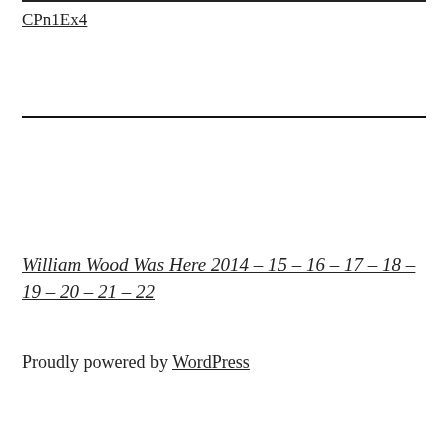CPn1Ex4
William Wood Was Here 2014 – 15 – 16 – 17 – 18 – 19 – 20 – 21 – 22
Proudly powered by WordPress